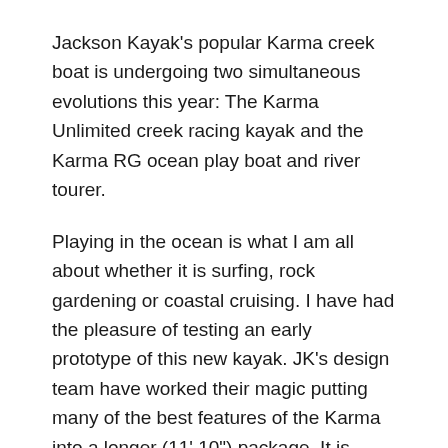Jackson Kayak's popular Karma creek boat is undergoing two simultaneous evolutions this year: The Karma Unlimited creek racing kayak and the Karma RG ocean play boat and river tourer.
Playing in the ocean is what I am all about whether it is surfing, rock gardening or coastal cruising. I have had the pleasure of testing an early prototype of this new kayak. JK's design team have worked their magic putting many of the best features of the Karma into a longer (11' 10") package. It is rather fortunate that what is needed for a creek racing boat is more or less exactly what we need in a rock garden boat.